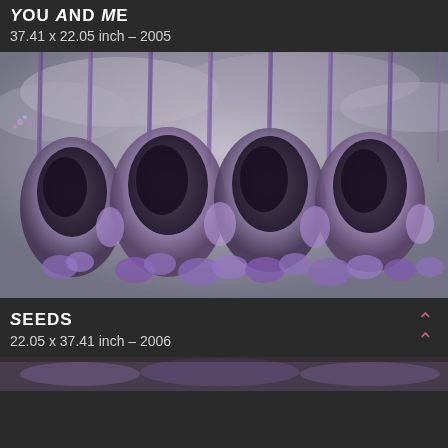You and Me
37.41 x 22.05 inch – 2005
[Figure (illustration): Surreal botanical artwork featuring hanging organic pod-like forms with purple flowers and dark curved shapes against a grey cloudy background, with vertical purple twisted vine elements.]
Seeds
22.05 x 37.41 inch – 2006
[Figure (illustration): Partial view of another botanical artwork at the bottom of the page, showing similar purple and grey tones.]